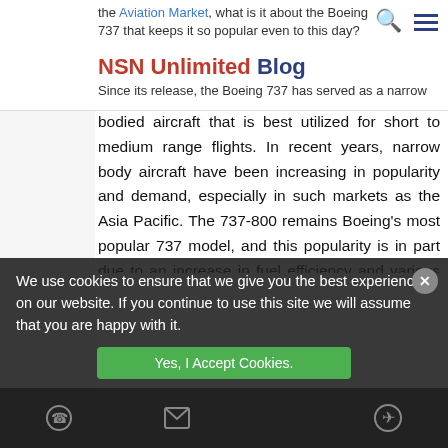NSN Unlimited Blog
the Aviation Market, what is it about the Boeing 737 that keeps it so popular even to this day?
Since its release, the Boeing 737 has served as a narrow bodied aircraft that is best utilized for short to medium range flights. In recent years, narrow body aircraft have been increasing in popularity and demand, especially in such markets as the Asia Pacific. The 737-800 remains Boeing's most popular 737 model, and this popularity is in part due to an increase in fuel efficiency and various internal upgrades over similar models, the fuel efficiency driving operating costs down as compared to similar models on the market. These low operating costs are also heavy drivers in a market that constantly demands lower costs and increased efficiency. The Boeing 737-800 itself does not dominate in a specific facet of aircraft design like some, rather it focuses on broadly excelling equally across many areas, making it a great compromise for different
We use cookies to ensure that we give you the best experience on our website. If you continue to use this site we will assume that you are happy with it.
passenger plane with single aisles just as much